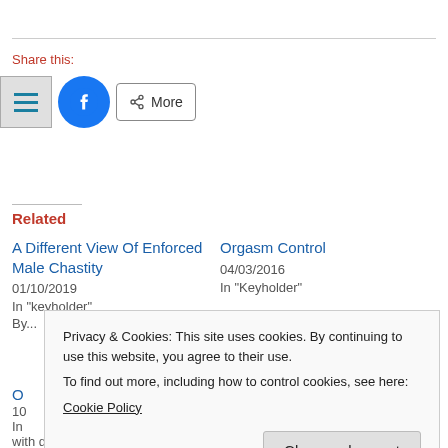Share this:
[Figure (infographic): Share buttons: hamburger/menu button, Facebook icon button, More button with share icon]
Related
A Different View Of Enforced Male Chastity
01/10/2019
In "keyholder"
Orgasm Control
04/03/2016
In "Keyholder"
O...
10...
In... with discipline"
Privacy & Cookies: This site uses cookies. By continuing to use this website, you agree to their use.
To find out more, including how to control cookies, see here:
Cookie Policy
Close and accept